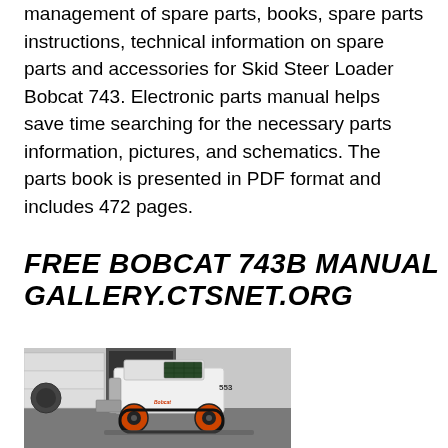management of spare parts, books, spare parts instructions, technical information on spare parts and accessories for Skid Steer Loader Bobcat 743. Electronic parts manual helps save time searching for the necessary parts information, pictures, and schematics. The parts book is presented in PDF format and includes 472 pages.
FREE BOBCAT 743B MANUAL GALLERY.CTSNET.ORG
[Figure (photo): Photo of a Bobcat skid steer loader (model 553) parked indoors, white and black color, with orange wheels, facing right.]